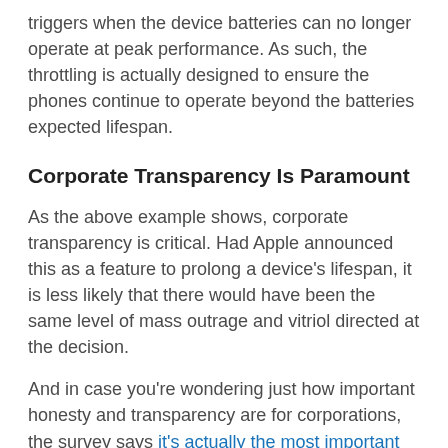triggers when the device batteries can no longer operate at peak performance. As such, the throttling is actually designed to ensure the phones continue to operate beyond the batteries expected lifespan.
Corporate Transparency Is Paramount
As the above example shows, corporate transparency is critical. Had Apple announced this as a feature to prolong a device's lifespan, it is less likely that there would have been the same level of mass outrage and vitriol directed at the decision.
And in case you're wondering just how important honesty and transparency are for corporations, the survey says it's actually the most important factor for consumers. Honest communication is followed by "not letting customers down" and acting with integrity.